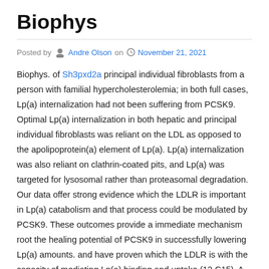Biophys
Posted by Andre Olson on November 21, 2021
Biophys. of Sh3pxd2a principal individual fibroblasts from a person with familial hypercholesterolemia; in both full cases, Lp(a) internalization had not been suffering from PCSK9. Optimal Lp(a) internalization in both hepatic and principal individual fibroblasts was reliant on the LDL as opposed to the apolipoprotein(a) element of Lp(a). Lp(a) internalization was also reliant on clathrin-coated pits, and Lp(a) was targeted for lysosomal rather than proteasomal degradation. Our data offer strong evidence which the LDLR is important in Lp(a) catabolism and that process could be modulated by PCSK9. These outcomes provide a immediate mechanism root the healing potential of PCSK9 in successfully lowering Lp(a) amounts. and have proven which the LDLR is with the capacity of mediating Lp(a) binding and uptake (12,C15). A recently available cross-sectional